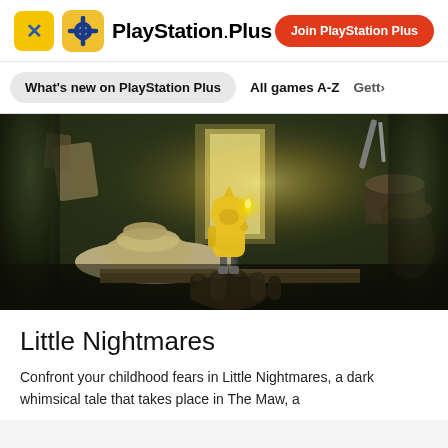PlayStation Plus | Join PlayStation Plus
What's new on PlayStation Plus  All games A-Z  Gett>
[Figure (illustration): Little Nightmares game screenshot: a small child in a yellow raincoat and hood holds up a lighter flame in a dark, cluttered room. A giant hand grips a shelf from below. Oversized pots, hats, and mysterious objects fill the atmospheric scene.]
Little Nightmares
Confront your childhood fears in Little Nightmares, a dark whimsical tale that takes place in The Maw, a